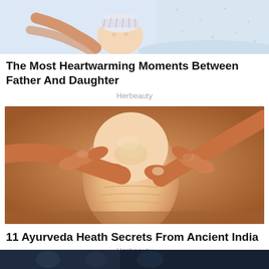[Figure (illustration): Partial illustration of a father and daughter at the top of the page, showing a soft pastel-colored drawing partially cropped]
The Most Heartwarming Moments Between Father And Daughter
Herbeauty
[Figure (photo): Close-up photo of hands performing a massage on a foot, with oiled skin, showing Ayurvedic massage technique]
11 Ayurveda Heath Secrets From Ancient India
Herbeauty
[Figure (photo): Bottom strip partially showing another article image, dark toned photo partially cropped at page bottom]